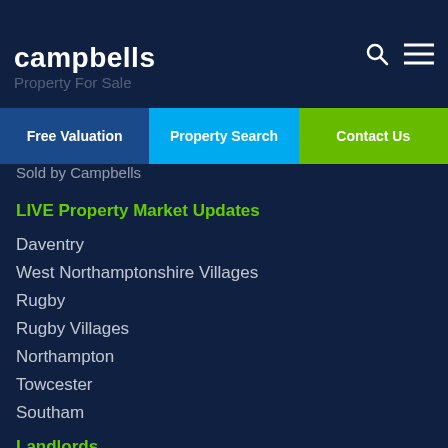campbells
Property For Sale
Free Valuation | Property Search | Contact Us
Sold by Campbells
LIVE Property Market Updates
Daventry
West Northamptonshire Villages
Rugby
Rugby Villages
Northampton
Towcester
Southam
Landlords